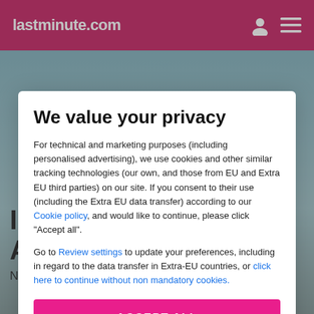lastminute.com
[Figure (screenshot): Background photo of a hotel area near Alanya Aquapark, partially visible behind the privacy modal overlay.]
We value your privacy
For technical and marketing purposes (including personalised advertising), we use cookies and other similar tracking technologies (our own, and those from EU and Extra EU third parties) on our site. If you consent to their use (including the Extra EU data transfer) according to our Cookie policy, and would like to continue, please click "Accept all".
Go to Review settings to update your preferences, including in regard to the data transfer in Extra-EU countries, or click here to continue without non mandatory cookies.
ACCEPT ALL
Information about Asian City Hotel
Near Alanya Aquapark